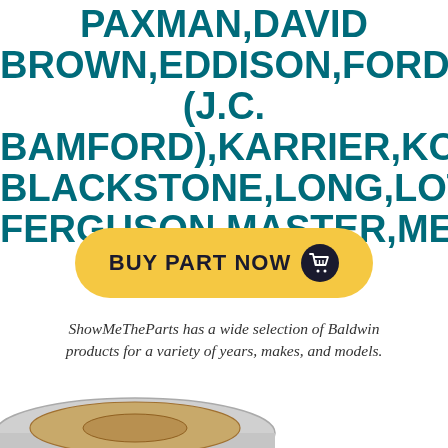PAXMAN,DAVID BROWN,EDDISON,FORD,FOWL (J.C. BAMFORD),KARRIER,KOMATSU,BLACKSTONE,LONG,LOTUS,MASSEY FERGUSON,MASTER,MEADOW
[Figure (other): Yellow rounded-rectangle Buy Part Now button with dark navy circle containing a white shopping basket icon]
ShowMeTheParts has a wide selection of Baldwin products for a variety of years, makes, and models.
[Figure (photo): Circular metallic oil filter / hydraulic filter part, silver and tan/brown colored, viewed from top angle]